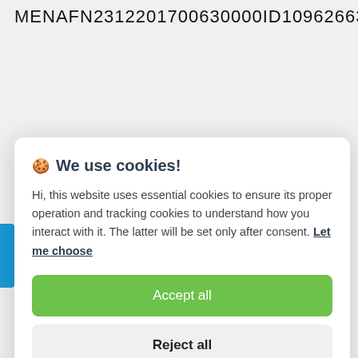MENAFN2312201700630000ID1096266365
🍪 We use cookies!
Hi, this website uses essential cookies to ensure its proper operation and tracking cookies to understand how you interact with it. The latter will be set only after consent. Let me choose
Accept all
Reject all